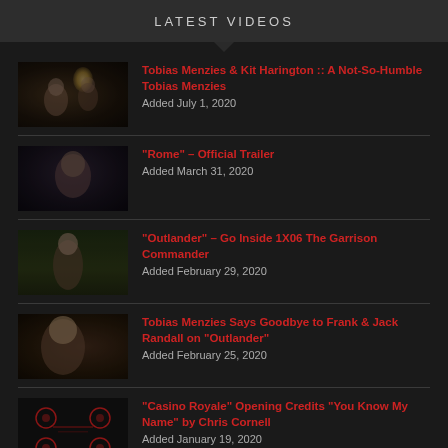LATEST VIDEOS
[Figure (screenshot): Video thumbnail for Tobias Menzies & Kit Harington - dark indoor scene]
Tobias Menzies & Kit Harington :: A Not-So-Humble Tobias Menzies
Added July 1, 2020
[Figure (screenshot): Video thumbnail for Rome Official Trailer - dark portrait]
"Rome" – Official Trailer
Added March 31, 2020
[Figure (screenshot): Video thumbnail for Outlander Go Inside 1X06]
"Outlander" – Go Inside 1X06 The Garrison Commander
Added February 29, 2020
[Figure (screenshot): Video thumbnail for Tobias Menzies Says Goodbye - warm interior]
Tobias Menzies Says Goodbye to Frank & Jack Randall on "Outlander"
Added February 25, 2020
[Figure (screenshot): Video thumbnail for Casino Royale Opening Credits - black with red circular designs]
"Casino Royale" Opening Credits "You Know My Name" by Chris Cornell
Added January 19, 2020